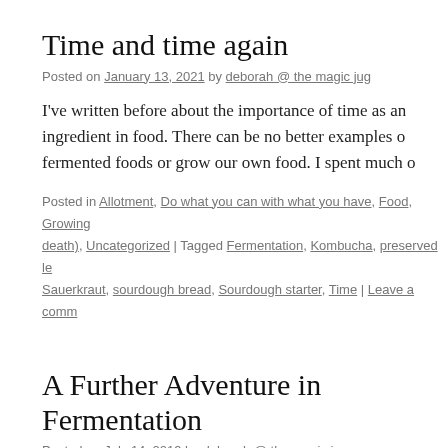Time and time again
Posted on January 13, 2021 by deborah @ the magic jug
I've written before about the importance of time as an ingredient in food. There can be no better examples of fermented foods or grow our own food. I spent much o
Posted in Allotment, Do what you can with what you have, Food, Growing death), Uncategorized | Tagged Fermentation, Kombucha, preserved le Sauerkraut, sourdough bread, Sourdough starter, Time | Leave a comm
A Further Adventure in Fermentation
Posted on July 14, 2019 by deborah @ the magic jug
And now for my latest Adventure in Fermentation.  This Richard, who was kind enough to repay my gift of kefir kombucha scoby. If 'kombucha' and 'scoby' are new wo